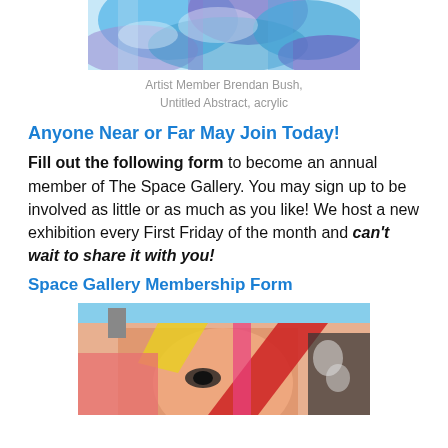[Figure (photo): Top portion of a colorful abstract acrylic painting with blue, purple, and white strokes, shown cropped at the top of the page.]
Artist Member Brendan Bush,
Untitled Abstract, acrylic
Anyone Near or Far May Join Today!
Fill out the following form to become an annual member of The Space Gallery. You may sign up to be involved as little or as much as you like! We host a new exhibition every First Friday of the month and can't wait to share it with you!
Space Gallery Membership Form
[Figure (photo): Photo of a large colorful mural on the exterior of a building, showing a face and geometric shapes in pink, red, yellow, and black, photographed from below against a blue sky.]